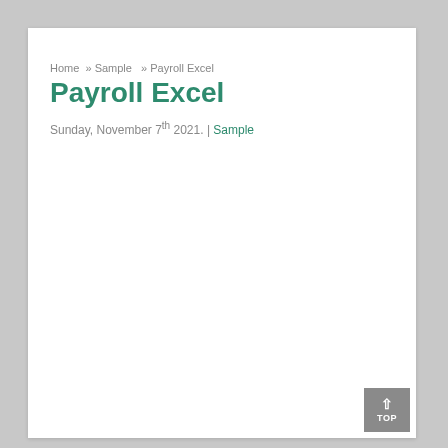Home » Sample » Payroll Excel
Payroll Excel
Sunday, November 7th 2021. | Sample